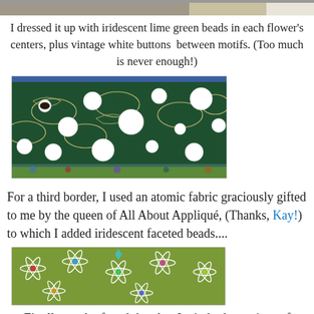[Figure (photo): Top cropped photo strip showing a quilt or fabric piece, partially visible at top of page]
I dressed it up with iridescent lime green beads in each flower's centers, plus vintage white buttons  between motifs. (Too much is never enough!)
[Figure (photo): Photo of dark green fabric with fan/chrysanthemum patterns and large white circular buttons or discs arranged across the fabric, with a colorful patterned border at the bottom]
For a third border, I used an atomic fabric graciously gifted to me by the queen of All About Appliqué, (Thanks, Kay!) to which I added iridescent faceted beads....
[Figure (photo): Photo of green fabric with atomic/starburst pattern motifs in white outlines, with colorful iridescent faceted beads placed at the centers of each atomic design]
Finally, to the fourth border, I stitched a variety of green